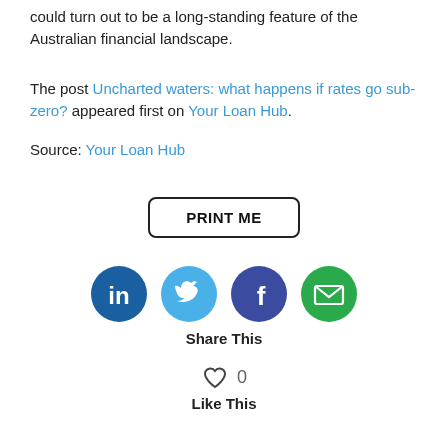could turn out to be a long-standing feature of the Australian financial landscape.
The post Uncharted waters: what happens if rates go sub-zero? appeared first on Your Loan Hub.
Source: Your Loan Hub
[Figure (other): PRINT ME button with rounded rectangle border]
[Figure (other): Social sharing icons: LinkedIn (dark blue circle with 'in'), Twitter (light blue circle with bird), Facebook (dark blue circle with 'f'), Email (green circle with envelope). Below: Share This label.]
[Figure (other): Heart icon with count 0 and Like This label below]